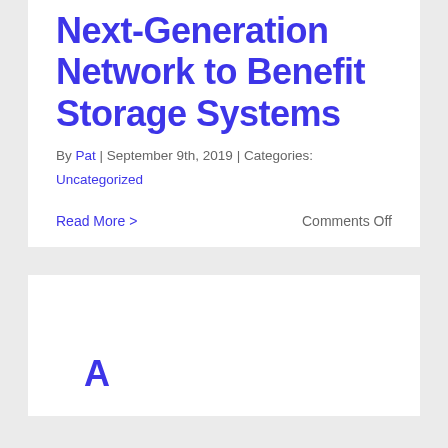Next-Generation Network to Benefit Storage Systems
By Pat | September 9th, 2019 | Categories: Uncategorized
Read More >    Comments Off